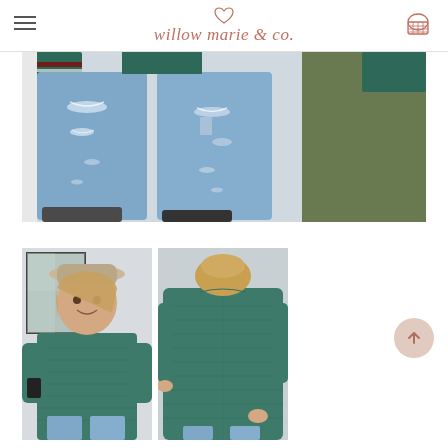willow marie & co.
[Figure (photo): Close-up photo of lower body wearing distressed light blue jeans and teal/green top, with a green outdoor surface in background]
[Figure (photo): Two product photos side by side of a woman wearing a teal/green knit sweater: left photo shows front view with woman wearing hat smiling, right photo shows back view of the sweater]